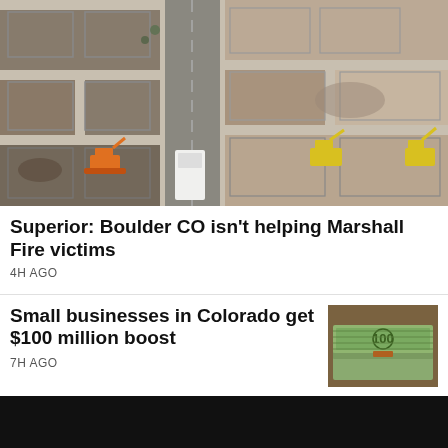[Figure (photo): Aerial view of neighborhood destroyed by fire, showing burned foundations, construction equipment (excavators, trucks), and cleared lots along a road amid fire damage and debris.]
Superior: Boulder CO isn't helping Marshall Fire victims
4H AGO
Small businesses in Colorado get $100 million boost
7H AGO
[Figure (photo): Stack of $100 dollar bills bundled with a strap, viewed from above.]
Gubernatorial and senatorial candidates
[Figure (photo): Screenshot of a news broadcast showing a man speaking.]